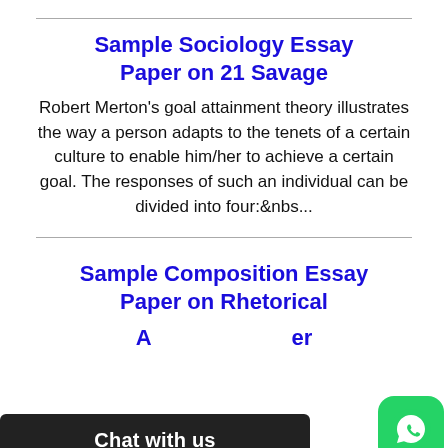Sample Sociology Essay Paper on 21 Savage
Robert Merton's goal attainment theory illustrates the way a person adapts to the tenets of a certain culture to enable him/her to achieve a certain goal. The responses of such an individual can be divided into four:&nbs...
Sample Composition Essay Paper on Rhetorical A...er
Chat with us